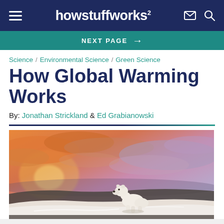howstuffworks
NEXT PAGE →
Science / Environmental Science / Green Science
How Global Warming Works
By: Jonathan Strickland & Ed Grabianowski
[Figure (photo): A polar bear standing on snow/ice with a dramatic orange and purple sunset sky in the background]